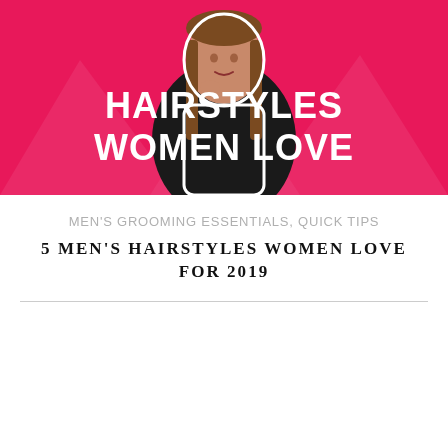[Figure (illustration): Promotional graphic with hot pink background, a woman with long brown hair in a thinking pose, wearing black. Large bold white text reads 'HAIRSTYLES WOMEN LOVE' with geometric light pink triangular shapes in background.]
MEN'S GROOMING ESSENTIALS, QUICK TIPS
5 MEN'S HAIRSTYLES WOMEN LOVE FOR 2019